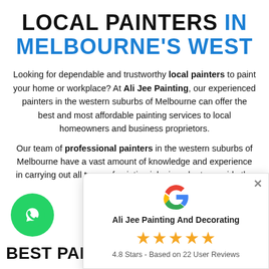LOCAL PAINTERS IN MELBOURNE'S WEST
Looking for dependable and trustworthy local painters to paint your home or workplace? At Ali Jee Painting, our experienced painters in the western suburbs of Melbourne can offer the best and most affordable painting services to local homeowners and business proprietors.
Our team of professional painters in the western suburbs of Melbourne have a vast amount of knowledge and experience in carrying out all types of painting jobs in order to provide the best services available.
[Figure (logo): Green circular WhatsApp button with phone/chat icon]
BEST PAINTERS
[Figure (infographic): Google review popup showing Ali Jee Painting And Decorating with 4.8 Stars based on 22 User Reviews and 5 gold stars]